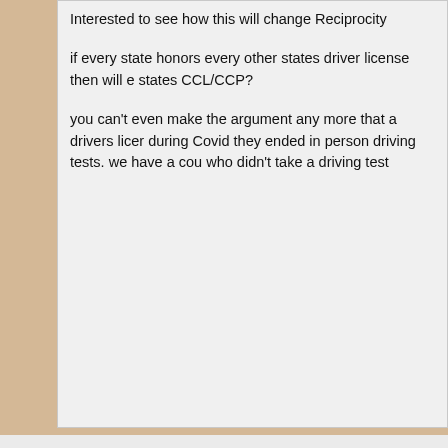Interested to see how this will change Reciprocity

if every state honors every other states driver license then will every state honor every other states CCL/CCP?

you can't even make the argument any more that a drivers license requires more effort. during Covid they ended in person driving tests. we have a couple generations who didn't take a driving test
As far as I know reciprocity agreements are brokered between States and I don't see a reciprocity agreement between NY and PA. I have a camp near the border and making sure all the handguns and pistol ammo are out of the vehicle before eating at a local restaurant.

I doubt it will happen though.

Grouse camp hand guns.